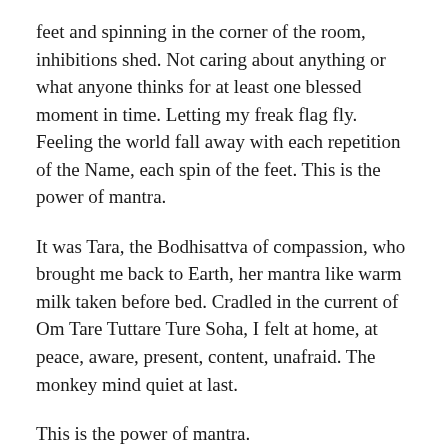feet and spinning in the corner of the room, inhibitions shed. Not caring about anything or what anyone thinks for at least one blessed moment in time. Letting my freak flag fly. Feeling the world fall away with each repetition of the Name, each spin of the feet. This is the power of mantra.
It was Tara, the Bodhisattva of compassion, who brought me back to Earth, her mantra like warm milk taken before bed. Cradled in the current of Om Tare Tuttare Ture Soha, I felt at home, at peace, aware, present, content, unafraid. The monkey mind quiet at last.
This is the power of mantra.
After the kirtan ended, after the goodbye hugs, after re-folding the blankets and repacking the altar and taking out the garbage, I was dropping off a young man who lived near me, Kyle, who